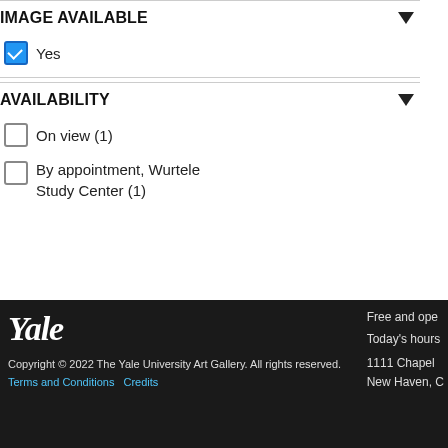IMAGE AVAILABLE
Yes (checked)
AVAILABILITY
On view (1)
By appointment, Wurtele Study Center (1)
Classification: ... Status: By a...
COLLECTION OBJECTS
AMERICAN DECORATIVE ARTS
Polychro...
Date: ca. 189...
Medium: Ea...
Accession N...
Culture: Nat...
Period: 19th...
Classificatio...
Status: On v...
Yale
Copyright © 2022 The Yale University Art Gallery. All rights reserved.
Terms and Conditions Credits
Free and ope...
Today's hours...
1111 Chapel...
New Haven, C...